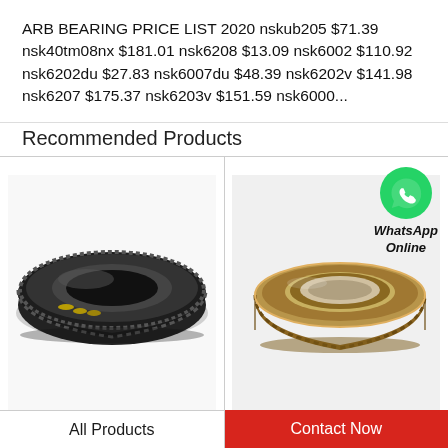ARB BEARING PRICE LIST 2020 nskub205 $71.39 nsk40tm08nx $181.01 nsk6208 $13.09 nsk6002 $110.92 nsk6202du $27.83 nsk6007du $48.39 nsk6202v $141.98 nsk6207 $175.37 nsk6203v $151.59 nsk6000...
Recommended Products
[Figure (photo): Black slewing ring bearing (RKS 23.0941 SKF Slewing Ring Bearings) with gear teeth on outer ring and visible ball elements]
[Figure (photo): Gold/bronze slewing ring bearing (RKS 122290101002 SKF Slewing Ring Bearing) with gear teeth on outer ring, side-angled view, WhatsApp Online icon overlay]
RKS 23.0941 SKF Slewing Ring Bearings
RKS 122290101002 SKF Slewing Ring Bearing
All Products
Contact Now